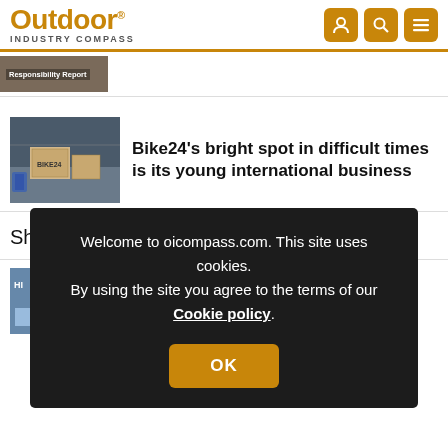Outdoor INDUSTRY COMPASS
[Figure (photo): Partially visible article thumbnail with text overlay reading 'Responsibility Report']
[Figure (photo): Warehouse boxes with BIKE24 branding]
Bike24's bright spot in difficult times is its young international business
Short Stops Week 33, 2022
[Figure (screenshot): Cookie consent overlay on dark background reading: Welcome to oicompass.com. This site uses cookies. By using the site you agree to the terms of our Cookie policy. OK button.]